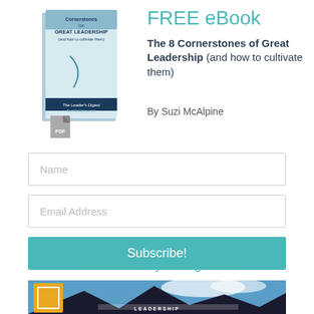[Figure (illustration): Book cover for 'The 8 Cornerstones of Great Leadership (and how to cultivate them)' by Suzi McAlpine, published by The Leader's Digest. A PDF icon is visible in the lower left of the book image area.]
FREE eBook
The 8 Cornerstones of Great Leadership (and how to cultivate them)
By Suzi McAlpine
Name
Email Address
Subscribe!
Internationally Recognised
[Figure (photo): Partial view of a mountain landscape with a golden/orange square logo overlay, dark peaks against a blue sky with clouds. Text partially visible at bottom reading what appears to be a leadership award or recognition logo.]